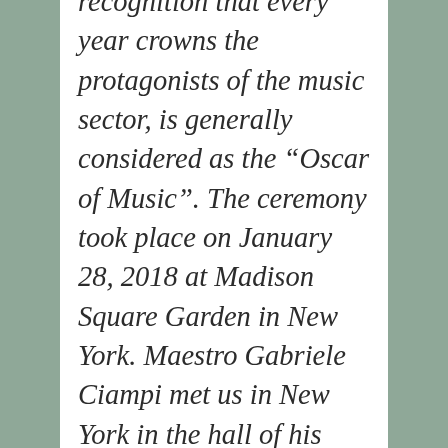recognition that every year crowns the protagonists of the music sector, is generally considered as the “Oscar of Music”. The ceremony took place on January 28, 2018 at Madison Square Garden in New York. Maestro Gabriele Ciampi met us in New York in the hall of his hotel the day after the Grammy Award. We report (late, for technical reasons) part of the long conversation between our editorial director and the congenial Roman composer.